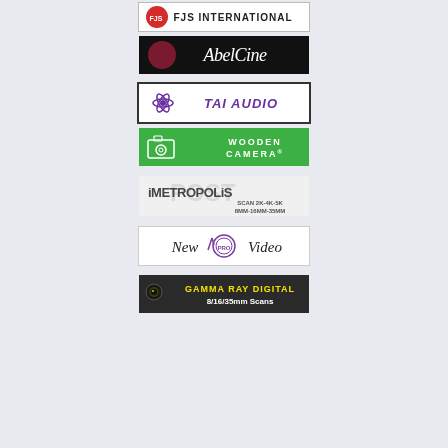[Figure (logo): FJS International logo with red circle icon and text FJS INTERNATIONAL]
[Figure (logo): AbelCine logo on black background with dark red circle and stylized AbelCine text]
[Figure (logo): TAI AUDIO logo with purple three-blade propeller icon and italic bold purple text TAI AUDIO in white bordered box]
[Figure (logo): Wooden Camera logo on green background with white camera line-art icon and WOODEN CAMERA text]
[Figure (logo): iMETROPOLiS logo with text SCAN 2K-4K-5K and 8MM-16MM-35MM]
[Figure (logo): New Pro Video logo with stylized text and circular PRO emblem]
[Figure (logo): Gamma Ray Digital logo on dark background with owl imagery and text 8/16/35mm Scans]